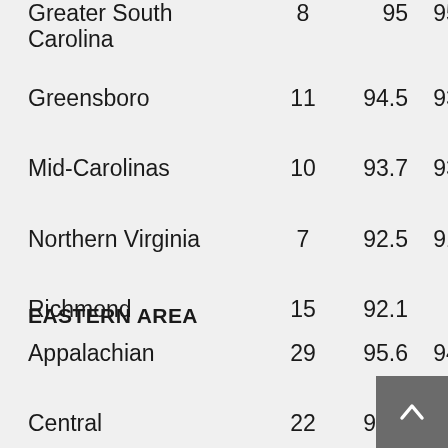|  |  |  |  |
| --- | --- | --- | --- |
| Greater South Carolina | 8 | 95 | 95.1 |
| Greensboro | 11 | 94.5 | 93.2 |
| Mid-Carolinas | 10 | 93.7 | 93.4 |
| Northern Virginia | 7 | 92.5 | 91.6 |
| Richmond | 15 | 92.1 | 91 |
EASTERN AREA
| Appalachian | 29 | 95.6 | 94.7 |
| Central | 22 | 95.1 | 93.5 |